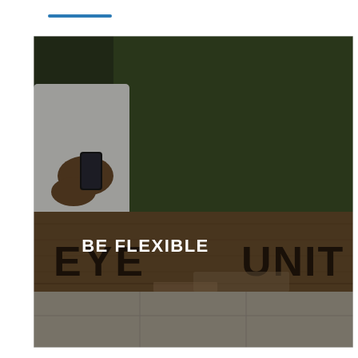[Figure (photo): A photograph showing a person in white clothing holding a smartphone, standing in front of a dark green wall. Below is a wooden ledge or bench with the text 'EYE UNIT' painted on it in dark letters. Overlaid on the photo in white text is 'BE FLEXIBLE'. The floor shows tiled concrete.]